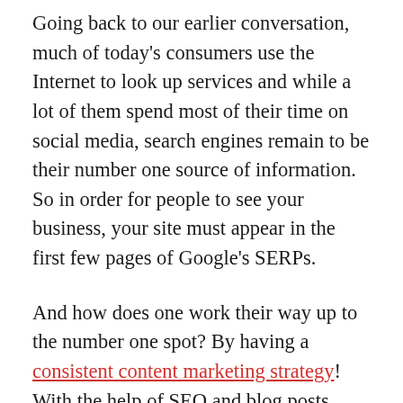Going back to our earlier conversation, much of today's consumers use the Internet to look up services and while a lot of them spend most of their time on social media, search engines remain to be their number one source of information. So in order for people to see your business, your site must appear in the first few pages of Google's SERPs.
And how does one work their way up to the number one spot? By having a consistent content marketing strategy! With the help of SEO and blog posts, marketing dental practices becomes much easier. Because the more valuable information that draws visitors to your website, the higher its ranking will be.